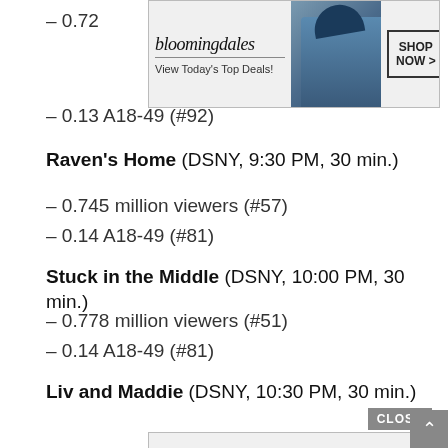[Figure (screenshot): Bloomingdale's advertisement banner: logo, tagline 'View Today's Top Deals!', fashion photo, and SHOP NOW button]
– 0.72
– 0.13 A18-49 (#92)
Raven's Home (DSNY, 9:30 PM, 30 min.)
– 0.745 million viewers (#57)
– 0.14 A18-49 (#81)
Stuck in the Middle (DSNY, 10:00 PM, 30 min.)
– 0.778 million viewers (#51)
– 0.14 A18-49 (#81)
Liv and Maddie (DSNY, 10:30 PM, 30 min.)
– 0.810 million viewers (#43)
– 0.15
[Figure (screenshot): MAC cosmetics advertisement banner with lipstick products and SHOP NOW button]
CLOSE